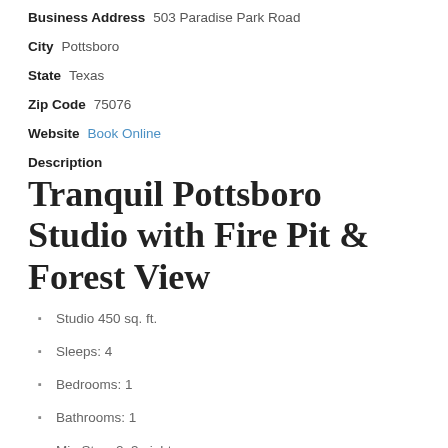Business Address  503 Paradise Park Road
City  Pottsboro
State  Texas
Zip Code  75076
Website  Book Online
Description
Tranquil Pottsboro Studio with Fire Pit & Forest View
Studio 450 sq. ft.
Sleeps: 4
Bedrooms: 1
Bathrooms: 1
Min Stay: 2–3 nights
Check availability, rates and make reservations